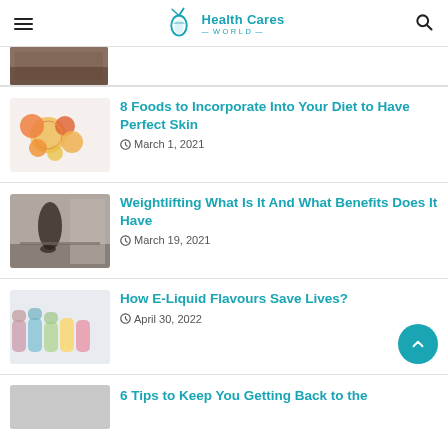Health Cares World
[Figure (photo): Partial thumbnail of first article (cut off at top)]
8 Foods to Incorporate Into Your Diet to Have Perfect Skin
March 1, 2021
Weightlifting What Is It And What Benefits Does It Have
March 19, 2021
How E-Liquid Flavours Save Lives?
April 30, 2022
6 Tips to Keep You Getting Back to the